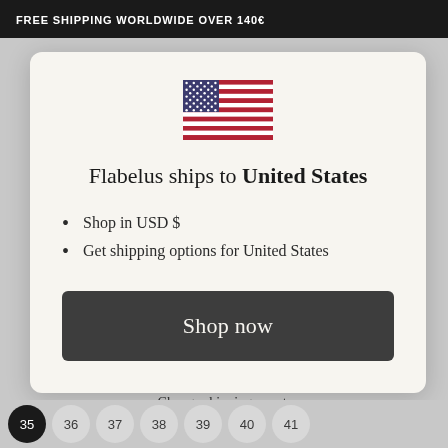FREE SHIPPING WORLDWIDE OVER 140€
[Figure (illustration): US flag emoji/icon centered in modal]
Flabelus ships to United States
Shop in USD $
Get shipping options for United States
Shop now
Change shipping country
35  36  37  38  39  40  41